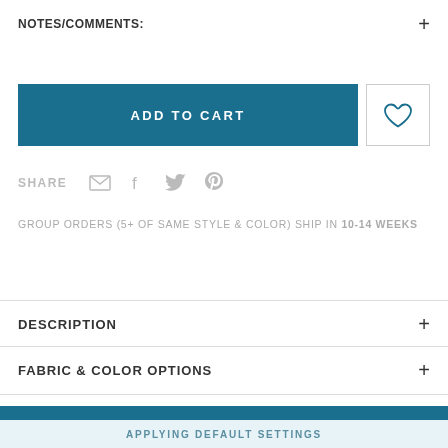NOTES/COMMENTS:
ADD TO CART
SHARE
GROUP ORDERS (5+ OF SAME STYLE & COLOR) SHIP IN 10-14 WEEKS
DESCRIPTION
FABRIC & COLOR OPTIONS
APPLYING DEFAULT SETTINGS